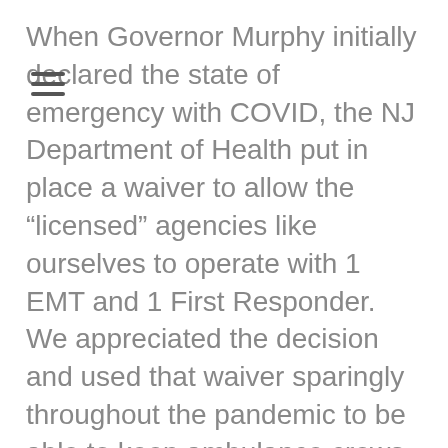When Governor Murphy initially declared the state of emergency with COVID, the NJ Department of Health put in place a waiver to allow the “licensed” agencies like ourselves to operate with 1 EMT and 1 First Responder.  We appreciated the decision and used that waiver sparingly throughout the pandemic to be able to keep ambulance crews readily available during times where we had limited resources.  With the pandemic subsiding and the state of emergency ending the state legislature introduced A6073(see the link).  This bill would have extended the 1 EMT and 1 First Responder until January 2023.  However, when the bill went to committee it was amended and the original idea of the following